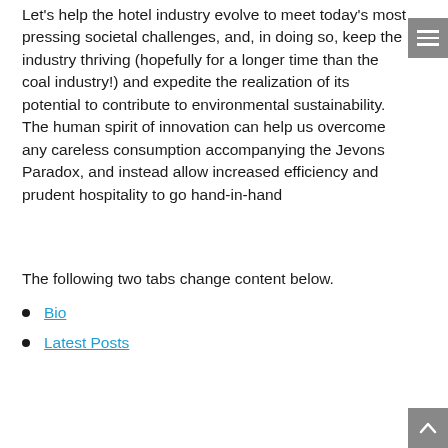Let's help the hotel industry evolve to meet today's most pressing societal challenges, and, in doing so, keep the industry thriving (hopefully for a longer time than the coal industry!) and expedite the realization of its potential to contribute to environmental sustainability. The human spirit of innovation can help us overcome any careless consumption accompanying the Jevons Paradox, and instead allow increased efficiency and prudent hospitality to go hand-in-hand
The following two tabs change content below.
Bio
Latest Posts